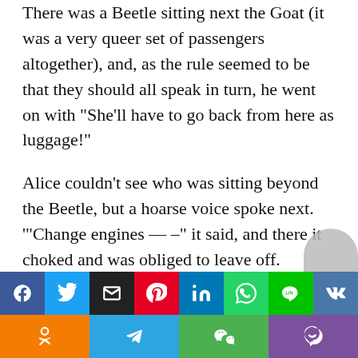There was a Beetle sitting next the Goat (it was a very queer set of passengers altogether), and, as the rule seemed to be that they should all speak in turn, he went on with “She’ll have to go back from here as luggage!”
Alice couldn’t see who was sitting beyond the Beetle, but a hoarse voice spoke next. ‘“Change engines — –” it said, and there it choked and was obliged to leave off.
“It sounds like a horse,” Alice thought to herself. And an extremely small voice, close to her ear, said, You might make a joke on that — something about ‘horse and hoarse’, you know”
[Figure (infographic): Social sharing buttons row: Facebook (blue), Twitter (blue), Email (black), Pinterest (red), LinkedIn (blue), WhatsApp (green), Line (green), VK (blue); second row: Odnoklassniki (orange), Telegram (blue), WeChat (green), Viber (purple)]